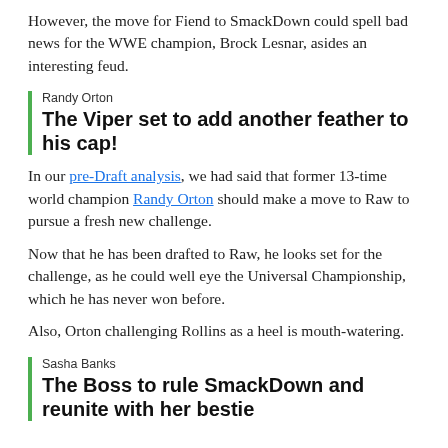However, the move for Fiend to SmackDown could spell bad news for the WWE champion, Brock Lesnar, asides an interesting feud.
Randy Orton
The Viper set to add another feather to his cap!
In our pre-Draft analysis, we had said that former 13-time world champion Randy Orton should make a move to Raw to pursue a fresh new challenge.
Now that he has been drafted to Raw, he looks set for the challenge, as he could well eye the Universal Championship, which he has never won before.
Also, Orton challenging Rollins as a heel is mouth-watering.
Sasha Banks
The Boss to rule SmackDown and reunite with her bestie